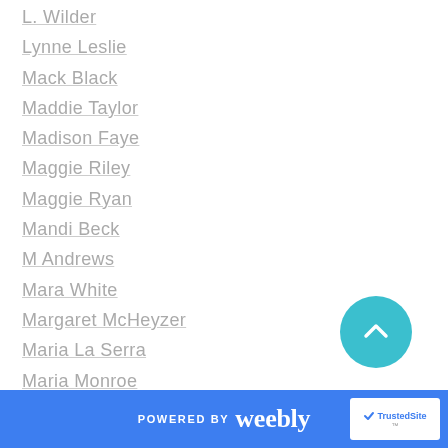L. Wilder
Lynne Leslie
Mack Black
Maddie Taylor
Madison Faye
Maggie Riley
Maggie Ryan
Mandi Beck
M Andrews
Mara White
Margaret McHeyzer
Maria La Serra
Maria Monroe
Maria Vickers
Marie Garner
Marie James
Marlee Wray
POWERED BY weebly